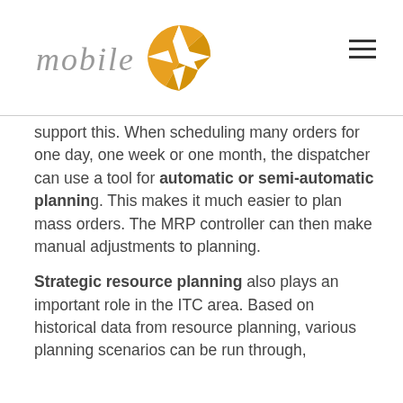[Figure (logo): mobileX logo with italic gray text 'mobile' and an orange circular icon with an X shape, plus a hamburger menu icon on the right]
support this. When scheduling many orders for one day, one week or one month, the dispatcher can use a tool for automatic or semi-automatic planning. This makes it much easier to plan mass orders. The MRP controller can then make manual adjustments to planning.
Strategic resource planning also plays an important role in the ITC area. Based on historical data from resource planning, various planning scenarios can be run through,